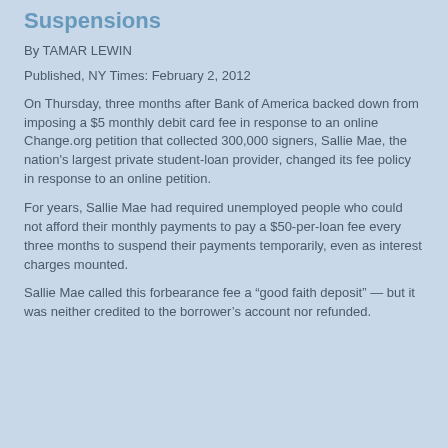Suspensions
By TAMAR LEWIN
Published, NY Times: February 2, 2012
On Thursday, three months after Bank of America backed down from imposing a $5 monthly debit card fee in response to an online Change.org petition that collected 300,000 signers, Sallie Mae, the nation's largest private student-loan provider, changed its fee policy in response to an online petition.
For years, Sallie Mae had required unemployed people who could not afford their monthly payments to pay a $50-per-loan fee every three months to suspend their payments temporarily, even as interest charges mounted.
Sallie Mae called this forbearance fee a “good faith deposit” — but it was neither credited to the borrower’s account nor refunded.